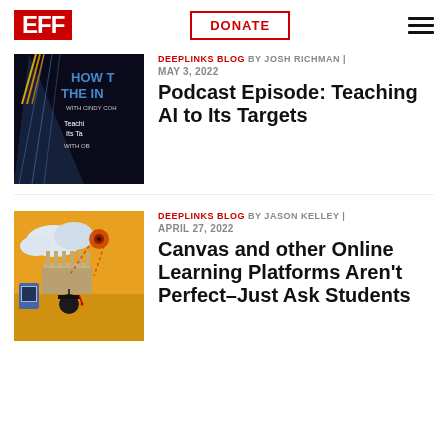EFF | DONATE | Menu
DEEPLINKS BLOG BY JOSH RICHMAN | MAY 3, 2022
Podcast Episode: Teaching AI to Its Targets
DEEPLINKS BLOG BY JASON KELLEY | APRIL 27, 2022
Canvas and other Online Learning Platforms Aren't Perfect–Just Ask Students